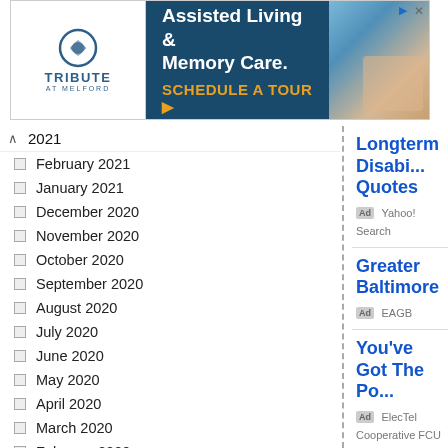[Figure (screenshot): Advertisement banner for Tribute at Melford assisted living and memory care facility with schedule a tour call to action]
2021 (collapsed)
February 2021
January 2021
December 2020
November 2020
October 2020
September 2020
August 2020
July 2020
June 2020
May 2020
April 2020
March 2020
February 2020
January 2020
December 2019
November 2019
October 2019
September 2019
August 2019
July 2019
June 2019
Longterm Disabi... Quotes
Ad Yahoo! Search
Greater Baltimore
Ad EAGB
You've Got The Po...
Ad ElecTel Cooperative FCU
Claim Your Entry
Ad mdmexclusives.com
National Gun Own... Survey